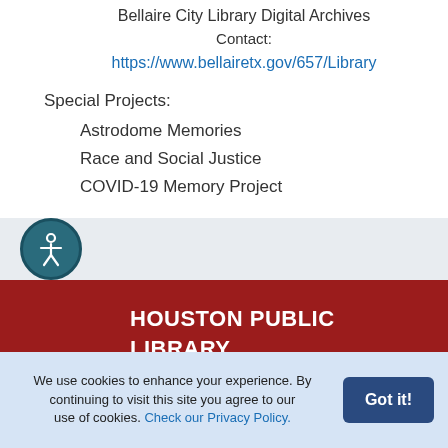Bellaire City Library Digital Archives
Contact:
https://www.bellairetx.gov/657/Library
Special Projects:
Astrodome Memories
Race and Social Justice
COVID-19 Memory Project
[Figure (illustration): Accessibility icon: teal circular button with white accessibility person symbol]
HOUSTON PUBLIC LIBRARY
500 McKinney Street Houston, Texas 77002 (832) 393-1313
We use cookies to enhance your experience. By continuing to visit this site you agree to our use of cookies. Check our Privacy Policy.